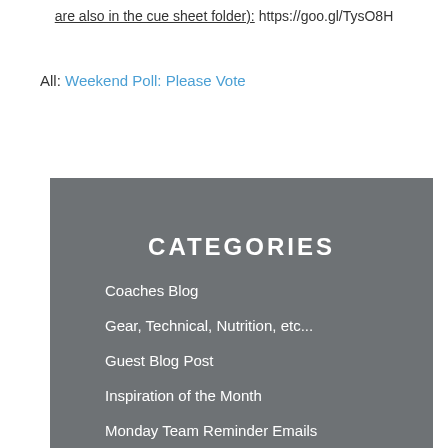are also in the cue sheet folder): https://goo.gl/TysO8H
All: Weekend Poll: Please Vote
CATEGORIES
Coaches Blog
Gear, Technical, Nutrition, etc...
Guest Blog Post
Inspiration of the Month
Monday Team Reminder Emails
Race Weekend Planning Info
Team Member Race Reports
Team Z Annual Planning Resources
Team Z In the News